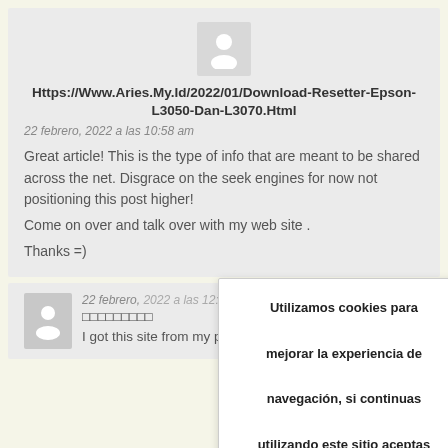[Figure (other): User avatar icon placeholder (silhouette on grey background)]
Https://Www.Aries.My.Id/2022/01/Download-Resetter-Epson-L3050-Dan-L3070.Html
22 febrero, 2022 a las 10:58 am
Great article! This is the type of info that are meant to be shared across the net. Disgrace on the seek engines for now not positioning this post higher!
Come on over and talk over with my web site .
Thanks =)
[Figure (other): Second user avatar icon placeholder (silhouette on grey background)]
22 febrero, 2022 a las 12:46 pm
□□□□□□□□□
I got this site from my pal who shared with me about this
Utilizamos cookies para mejorar la experiencia de navegación, si continuas utilizando este sitio aceptas el uso de cookies. leer más.
Aceptar
↑ Arriba